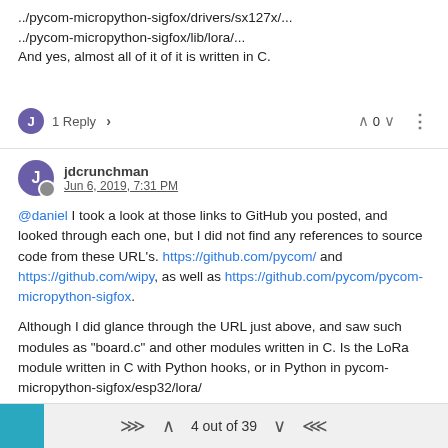../pycom-micropython-sigfox/drivers/sx127x/...
../pycom-micropython-sigfox/lib/lora/...
And yes, almost all of it of it is written in C.
J  1 Reply >   ^ 0 v  :
jdcrunchman  Jun 6, 2019, 7:31 PM
@daniel I took a look at those links to GitHub you posted, and looked through each one, but I did not find any references to source code from these URL's. https://github.com/pycom/ and https://github.com/wipy, as well as https://github.com/pycom/pycom-micropython-sigfox.
Although I did glance through the URL just above, and saw such modules as "board.c" and other modules written in C. Is the LoRa module written in C with Python hooks, or in Python in pycom-micropython-sigfox/esp32/lora/
Or am I looking in the wrong place. The import statement...
"from network import LoRa"
4 out of 39